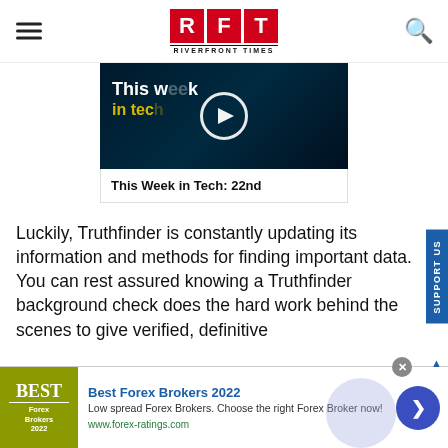[Figure (logo): RFT Riverfront Times logo with red boxes containing R, F, T letters and 'RIVERFRONT TIMES' text below]
[Figure (screenshot): Video thumbnail showing 'This week in tech' with play button overlay on dark tech background]
This Week in Tech: 22nd
Luckily, Truthfinder is constantly updating its information and methods for finding important data. You can rest assured knowing a Truthfinder background check does the hard work behind the scenes to give verified, definitive
[Figure (infographic): Advertisement banner for Best Forex Brokers 2022 with logo, text and call-to-action button]